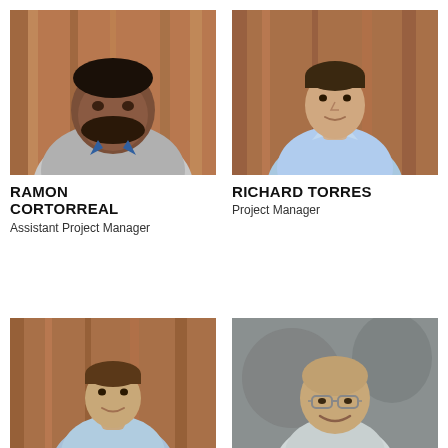[Figure (photo): Headshot of Ramon Cortorreal, a heavyset man in a grey zip-up fleece, smiling, against a wood-paneled background]
[Figure (photo): Headshot of Richard Torres, a lean man in a light blue dress shirt, seated, against a wood-paneled background]
RAMON CORTORREAL
Assistant Project Manager
RICHARD TORRES
Project Manager
[Figure (photo): Headshot of a man in a light blue shirt against a wood-paneled background]
[Figure (photo): Headshot of a bald older man with glasses smiling outdoors]